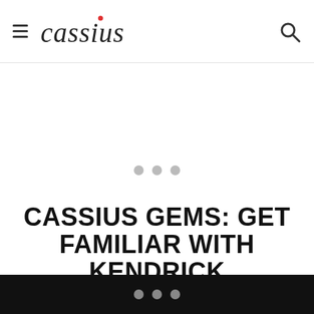cassius
[Figure (other): Loading spinner with three gray dots centered in white space]
CASSIUS GEMS: GET FAMILIAR WITH KENDRICK
[Figure (other): Three gray dots on black bar at bottom of page]